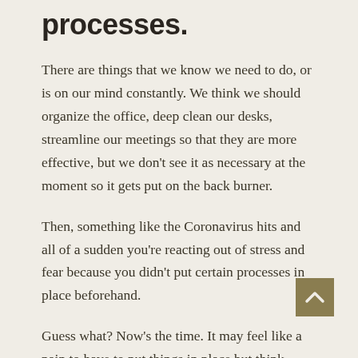processes.
There are things that we know we need to do, or is on our mind constantly. We think we should organize the office, deep clean our desks, streamline our meetings so that they are more effective, but we don't see it as necessary at the moment so it gets put on the back burner.
Then, something like the Coronavirus hits and all of a sudden you're reacting out of stress and fear because you didn't put certain processes in place beforehand.
Guess what? Now's the time. It may feel like a pain to have to put things in place but think about the ways you could be